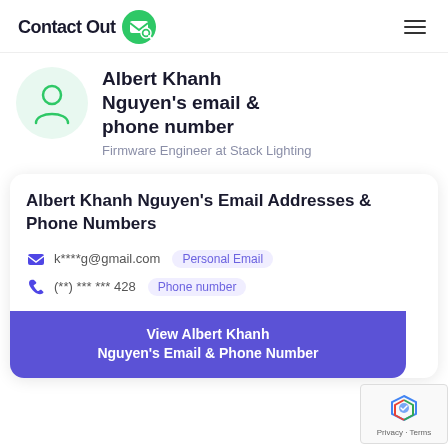ContactOut
Albert Khanh Nguyen's email & phone number
Firmware Engineer at Stack Lighting
Albert Khanh Nguyen's Email Addresses & Phone Numbers
k****g@gmail.com  Personal Email
(**) *** *** 428  Phone number
View Albert Khanh Nguyen's Email & Phone Number